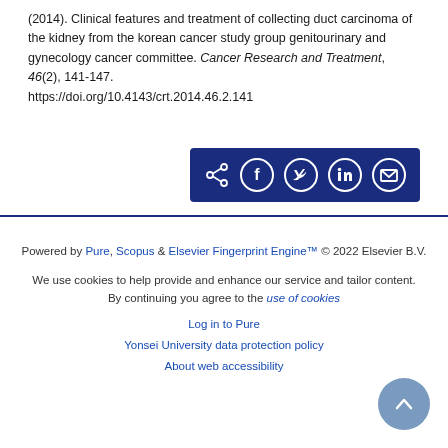(2014). Clinical features and treatment of collecting duct carcinoma of the kidney from the korean cancer study group genitourinary and gynecology cancer committee. Cancer Research and Treatment, 46(2), 141-147. https://doi.org/10.4143/crt.2014.46.2.141
[Figure (other): Social share buttons bar with dark navy background showing share, Facebook, Twitter, LinkedIn, and email icons]
Powered by Pure, Scopus & Elsevier Fingerprint Engine™ © 2022 Elsevier B.V.
We use cookies to help provide and enhance our service and tailor content. By continuing you agree to the use of cookies
Log in to Pure
Yonsei University data protection policy
About web accessibility